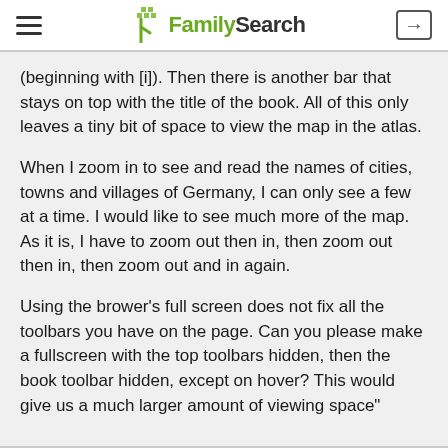FamilySearch
(beginning with [i]). Then there is another bar that stays on top with the title of the book. All of this only leaves a tiny bit of space to view the map in the atlas.
When I zoom in to see and read the names of cities, towns and villages of Germany, I can only see a few at a time. I would like to see much more of the map. As it is, I have to zoom out then in, then zoom out then in, then zoom out and in again.
Using the brower's full screen does not fix all the toolbars you have on the page. Can you please make a fullscreen with the top toolbars hidden, then the book toolbar hidden, except on hover? This would give us a much larger amount of viewing space"